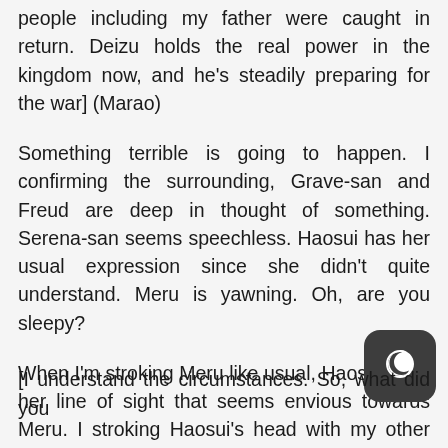people including my father were caught in return. Deizu holds the real power in the kingdom now, and he's steadily preparing for the war] (Marao)
Something terrible is going to happen. I confirming the surrounding, Grave-san and Freud are deep in thought of something. Serena-san seems speechless. Haosui has her usual expression since she didn't quite understand. Meru is yawning. Oh, are you sleepy?
When I'm stroking Meru like usual, Haosui send her line of sight that seems envious towards Meru. I stroking Haosui's head with my other empty hand. Grave-san uttering a word to Marao with seriou
[I understand the circumstances. So, what did you